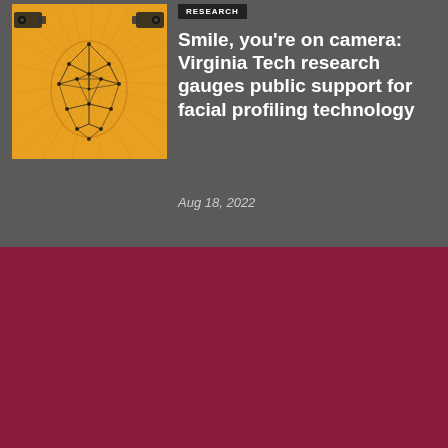[Figure (illustration): Illustration of a stylized human face with geometric triangular mesh overlay, surrounded by surveillance camera icons, on an orange/gold background]
RESEARCH
Smile, you’re on camera: Virginia Tech research gauges public support for facial profiling technology
Aug 18, 2022
DAILY DOODLE
VIEW ALL ►
[Figure (illustration): Watercolor and ink illustration of lush green plants and foliage, partially visible at the bottom of the page]